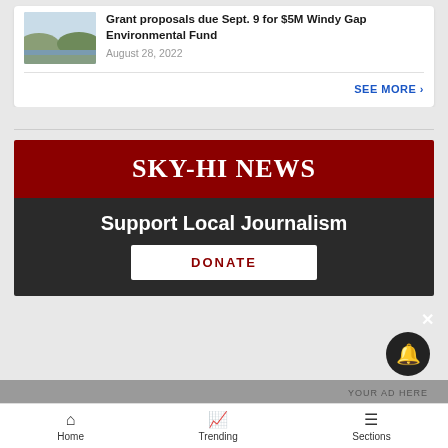Grant proposals due Sept. 9 for $5M Windy Gap Environmental Fund
August 28, 2022
SEE MORE ›
[Figure (photo): Landscape photo of a wetland or lake area with hills in background]
[Figure (logo): Sky-Hi News logo on dark red background with Support Local Journalism donate banner]
Support Local Journalism
DONATE
YOUR AD HERE
Home   Trending   Sections